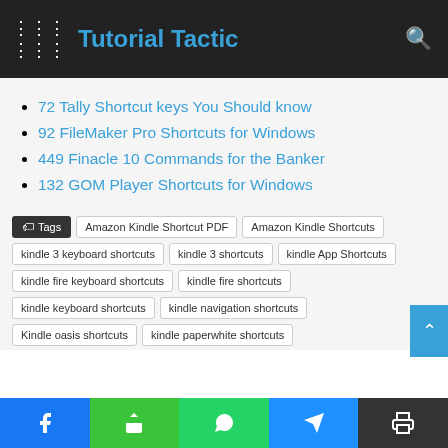Tutorial Tactic
72 Tally Shortcut keys You Should know
92 FileMaker Pro Shortcuts for Windows
449 Finacle 10 Commands for the Banker
132 GOM Player Shortcuts for Windows
Tags  Amazon Kindle Shortcut PDF  Amazon Kindle Shortcuts  kindle 3 keyboard shortcuts  kindle 3 shortcuts  kindle App Shortcuts  kindle fire keyboard shortcuts  kindle fire shortcuts  kindle keyboard shortcuts  kindle navigation shortcuts  Kindle oasis shortcuts  kindle paperwhite shortcuts
facebook share whatsapp telegram print